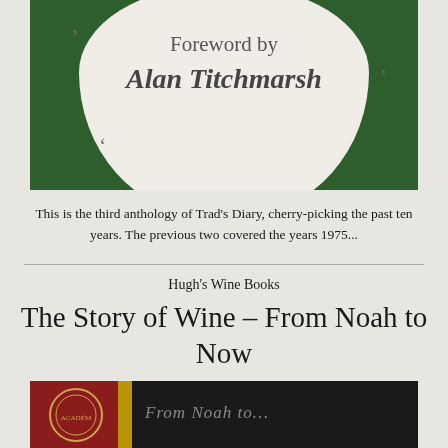[Figure (photo): Book cover image showing 'Foreword by Alan Titchmarsh' text on a white/cream pot or vase shape against a green background]
This is the third anthology of Trad's Diary, cherry-picking the past ten years. The previous two covered the years 1975...
Hugh's Wine Books
The Story of Wine – From Noah to Now
[Figure (photo): Bottom portion of a book cover with dark background, red spine, gold stripe, and a medallion/seal visible]